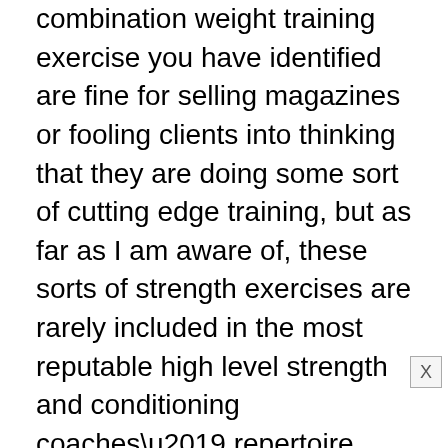combination weight training exercise you have identified are fine for selling magazines or fooling clients into thinking that they are doing some sort of cutting edge training, but as far as I am aware of, these sorts of strength exercises are rarely included in the most reputable high level strength and conditioning coaches’ repertoire. Granted I have only trained one competitive motor cross competitor in my career, maybe there is something more to it than I am understanding.

Certainly consider asking other visitors on our